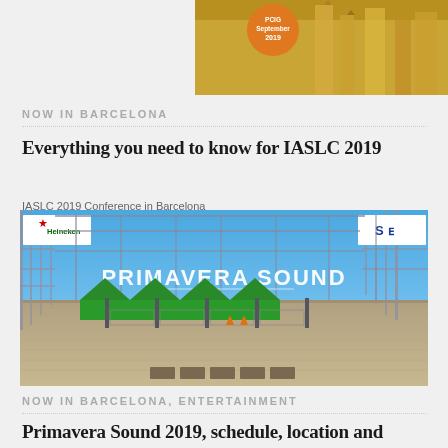[Figure (photo): Top partial photo showing Barcelona architecture with orange badge reading 'September 2019']
NOW IN BARCELONA
Everything you need to know for IASLC 2019
IASLC 2019 Conference in Barcelona
[Figure (photo): Photo of Primavera Sound music festival venue with large PRIMAVERA-SOUND sign, Heineken and SEAT sponsor banners, green tents, scaffolding, and wooden floor area under blue sky]
NOW IN BARCELONA, ENTERTAINMENT
Primavera Sound 2019, schedule, location and accomodation